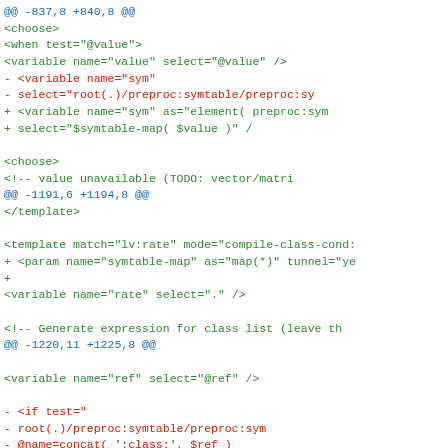@@ -837,8 +840,8 @@
      <choose>
          <when test="@value">
              <variable name="value" select="@value" />
-             <variable name="sym"
-               select="root(.)/preproc:symtable/preproc:sy
+             <variable name="sym" as="element( preproc:sym
+                         select="$symtable-map( $value )" /

              <choose>
                  <!-- value unavailable (TODO: vector/matri
@@ -1191,6 +1194,8 @@
 </template>

 <template match="lv:rate" mode="compile-class-cond:
+   <param name="symtable-map" as="map(*)" tunnel="ye
+
      <variable name="rate" select="." />

      <!-- Generate expression for class list (leave th
@@ -1220,11 +1225,8 @@

              <variable name="ref" select="@ref" />

-             <if test="
-                 root(.)/preproc:symtable/preproc:sym
-                     @name=concat( ':class:', $ref )
-                 ]/@preproc:generated='true'
-             ">
+             <if test="$symtable-map( concat( ':class